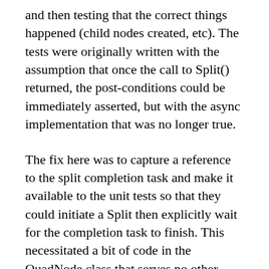and then testing that the correct things happened (child nodes created, etc).  The tests were originally written with the assumption that once the call to Split() returned, the post-conditions could be immediately asserted, but with the async implementation that was no longer true.
The fix here was to capture a reference to the split completion task and make it available to the unit tests so that they could initiate a Split then explicitly wait for the completion task to finish.  This necessitated a bit of code in the QuadNode class that serves no other purpose than to aid unit testing but I don't see any way around it.  The contract of Split() changed